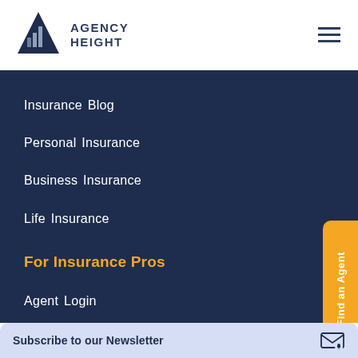[Figure (logo): Agency Height logo with building/triangle icon and text AGENCY HEIGHT]
Insurance Blog
Personal Insurance
Business Insurance
Life Insurance
For Insurance Pros
Agent Login
Add your Listing
Agent Resources
Subscribe to our Newsletter